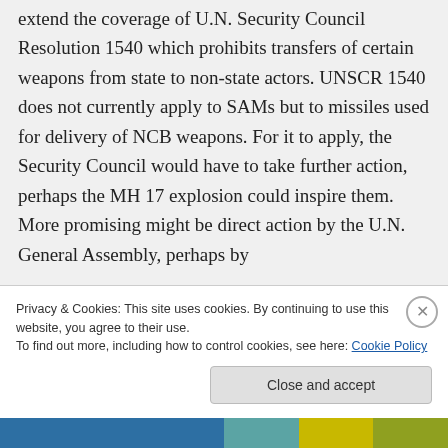extend the coverage of U.N. Security Council Resolution 1540 which prohibits transfers of certain weapons from state to non-state actors. UNSCR 1540 does not currently apply to SAMs but to missiles used for delivery of NCB weapons. For it to apply, the Security Council would have to take further action, perhaps the MH 17 explosion could inspire them. More promising might be direct action by the U.N. General Assembly, perhaps by
Privacy & Cookies: This site uses cookies. By continuing to use this website, you agree to their use.
To find out more, including how to control cookies, see here: Cookie Policy
Close and accept